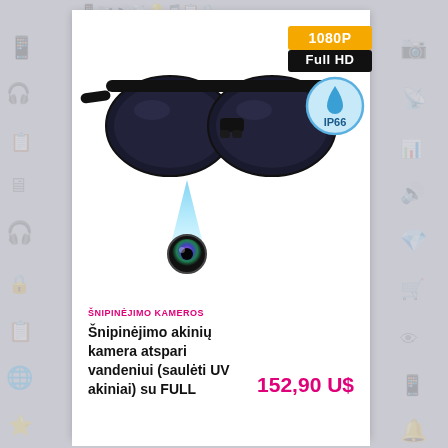[Figure (photo): Product photo of spy sunglasses camera with hidden camera lens highlighted by a blue light beam pointing to a camera lens element below the glasses frame. Also shows 1080P Full HD badge and IP66 waterproof badge.]
ŠNIPINĖJIMO KAMEROS
Šnipinėjimo akinių kamera atspari vandeniui (saulėti UV akiniai) su FULL
152,90 U$